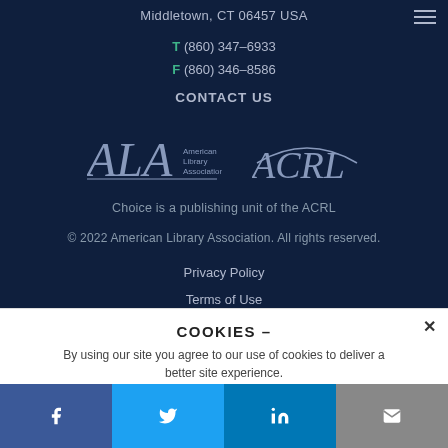Middletown, CT 06457 USA
T (860) 347–6933
F (860) 346–8586
CONTACT US
[Figure (logo): ALA American Library Association logo and ACRL logo side by side]
Choice is a publishing unit of the ACRL
© 2022 American Library Association. All rights reserved.
Privacy Policy
Terms of Use
COOKIES –
By using our site you agree to our use of cookies to deliver a better site experience.
[Figure (other): Social media bar with Facebook, Twitter, LinkedIn, and email icons]